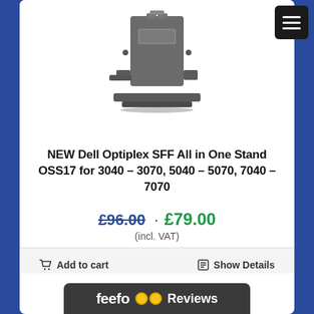[Figure (photo): Dell Optiplex SFF All-in-One Stand OSS17 product image showing a dark gray desktop computer stand/mount]
NEW Dell Optiplex SFF All in One Stand OSS17 for 3040 – 3070, 5040 – 5070, 7040 – 7070
£96.00 · £79.00 (incl. VAT)
Add to cart   Show Details
feefo Reviews